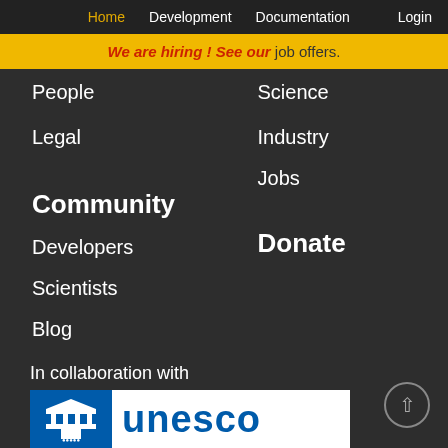Home  Development  Documentation  Login
We are hiring ! See our job offers.
People
Science
Legal
Industry
Jobs
Community
Donate
Developers
Scientists
Blog
In collaboration with
[Figure (logo): UNESCO logo with blue background icon on left and white background with blue UNESCO text on right]